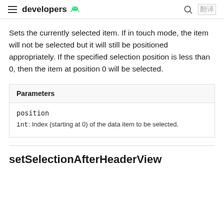developers
Sets the currently selected item. If in touch mode, the item will not be selected but it will still be positioned appropriately. If the specified selection position is less than 0, then the item at position 0 will be selected.
| Parameters |
| --- |
| position | int: Index (starting at 0) of the data item to be selected. |
setSelectionAfterHeaderView